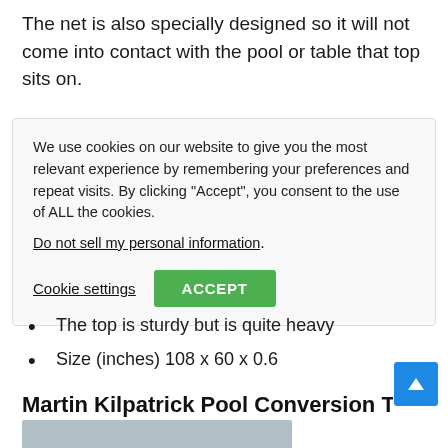The net is also specially designed so it will not come into contact with the pool or table that top sits on.
We use cookies on our website to give you the most relevant experience by remembering your preferences and repeat visits. By clicking “Accept”, you consent to the use of ALL the cookies. Do not sell my personal information. Cookie settings ACCEPT
The top is sturdy but is quite heavy
Size (inches) 108 x 60 x 0.6
Martin Kilpatrick Pool Conversion Table To
[Figure (photo): Bottom edge of a product image, partially visible at bottom of page]